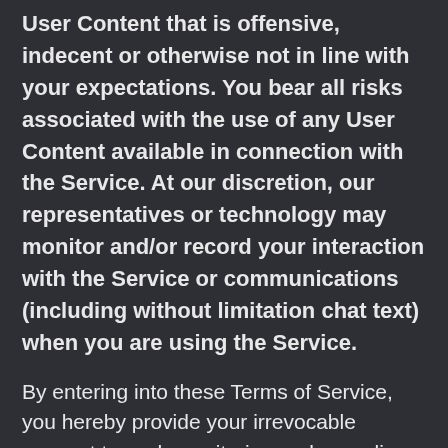User Content that is offensive, indecent or otherwise not in line with your expectations. You bear all risks associated with the use of any User Content available in connection with the Service. At our discretion, our representatives or technology may monitor and/or record your interaction with the Service or communications (including without limitation chat text) when you are using the Service.
By entering into these Terms of Service, you hereby provide your irrevocable consent to such monitoring and recording. You acknowledge and agree that you have no expectation of privacy concerning the transmission of any User